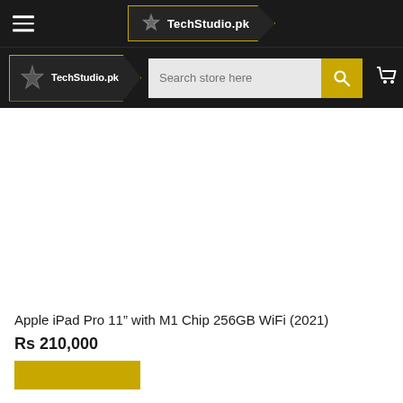TechStudio.pk — top navigation bar with hamburger menu and logo
TechStudio.pk — nav bar with logo, search store here, cart, Menu
[Figure (other): White blank product image area for Apple iPad Pro]
Apple iPad Pro 11” with M1 Chip 256GB WiFi (2021)
Rs 210,000
[Figure (other): Yellow Add to Cart button (partially visible)]